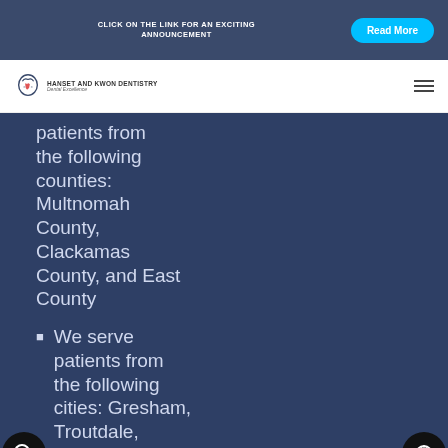CLICK ON THE LINK FOR AN EXCITING ANNOUNCEMENT | Read More
[Figure (logo): Hanset and Kwon Dentistry logo with tooth icon and tagline 'Dental Excellence']
patients from the following counties: Multnomah County, Clackamas County, and East County
We serve patients from the following cities: Gresham, Troutdale, Fairview
[Figure (infographic): Bottom navigation bar with home, phone, calendar, and location icons in cyan circles]